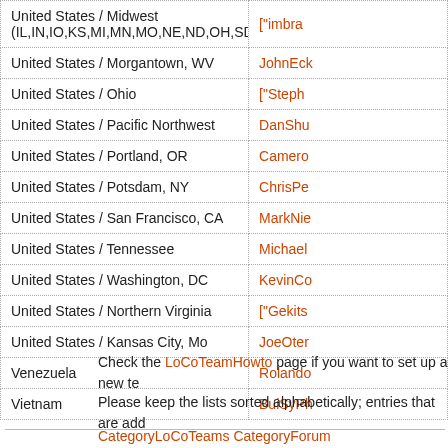| Location | Contact |
| --- | --- |
| United States / Midwest (IL,IN,IO,KS,MI,MN,MO,NE,ND,OH,SD,WI) | ["imbra... |
| United States / Morgantown, WV | JohnEck... |
| United States / Ohio | ["Steph... |
| United States / Pacific Northwest | DanShu... |
| United States / Portland, OR | Camero... |
| United States / Potsdam, NY | ChrisPe... |
| United States / San Francisco, CA | MarkNie... |
| United States / Tennessee | Michael... |
| United States / Washington, DC | KevinCo... |
| United States / Northern Virginia | ["Gekits... |
| United States / Kansas City, Mo | JoeOter... |
| Venezuela | Rolando... |
| Vietnam | BuiSyPh... |
Check the LoCoTeamHowto page if you want to set up a new te...
Please keep the lists sorted alphabetically; entries that are add...
CategoryLoCoTeams CategoryForum